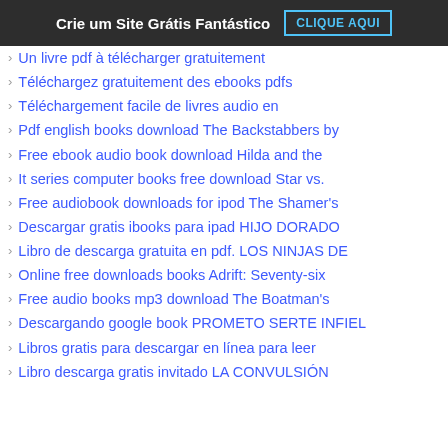Crie um Site Grátis Fantástico  CLIQUE AQUI
Un livre pdf à télécharger gratuitement
Téléchargez gratuitement des ebooks pdfs
Téléchargement facile de livres audio en
Pdf english books download The Backstabbers by
Free ebook audio book download Hilda and the
It series computer books free download Star vs.
Free audiobook downloads for ipod The Shamer's
Descargar gratis ibooks para ipad HIJO DORADO
Libro de descarga gratuita en pdf. LOS NINJAS DE
Online free downloads books Adrift: Seventy-six
Free audio books mp3 download The Boatman's
Descargando google book PROMETO SERTE INFIEL
Libros gratis para descargar en línea para leer
Libro descarga gratis invitado LA CONVULSIÓN